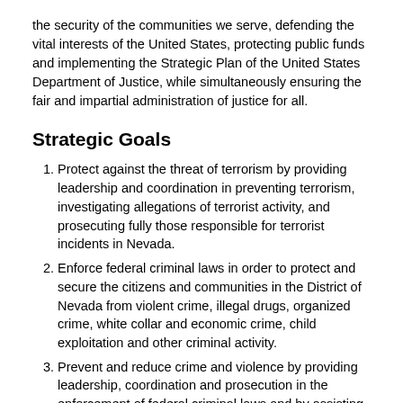the security of the communities we serve, defending the vital interests of the United States, protecting public funds and implementing the Strategic Plan of the United States Department of Justice, while simultaneously ensuring the fair and impartial administration of justice for all.
Strategic Goals
Protect against the threat of terrorism by providing leadership and coordination in preventing terrorism, investigating allegations of terrorist activity, and prosecuting fully those responsible for terrorist incidents in Nevada.
Enforce federal criminal laws in order to protect and secure the citizens and communities in the District of Nevada from violent crime, illegal drugs, organized crime, white collar and economic crime, child exploitation and other criminal activity.
Prevent and reduce crime and violence by providing leadership, coordination and prosecution in the enforcement of federal criminal laws and by assisting state, tribal, local and community-based programs in the District of Nevada.
Assist in protecting the integrity, and in promoting the effective operation of the federal justice system by protecting the rights of those who are involved in the federal justice system and by